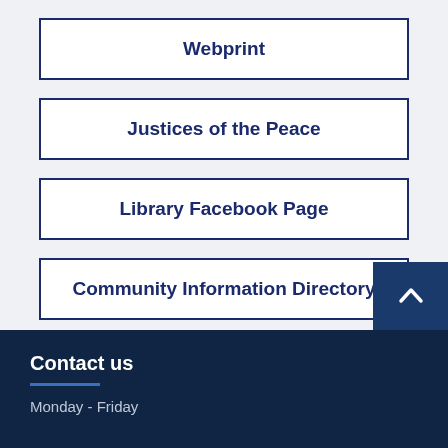Webprint
Justices of the Peace
Library Facebook Page
Community Information Directory
Contact us
Monday - Friday